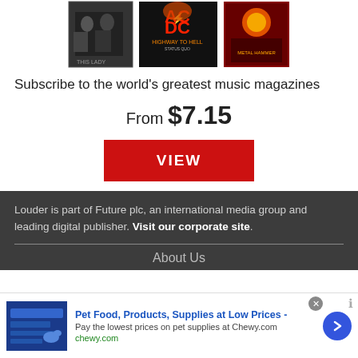[Figure (illustration): Magazine covers displayed at top including AC/DC Highway to Hell album cover and other music magazines in black and white and color]
Subscribe to the world's greatest music magazines
From $7.15
VIEW
Louder is part of Future plc, an international media group and leading digital publisher. Visit our corporate site.
About Us
[Figure (infographic): Advertisement banner: Pet Food, Products, Supplies at Low Prices - chewy.com with arrow button]